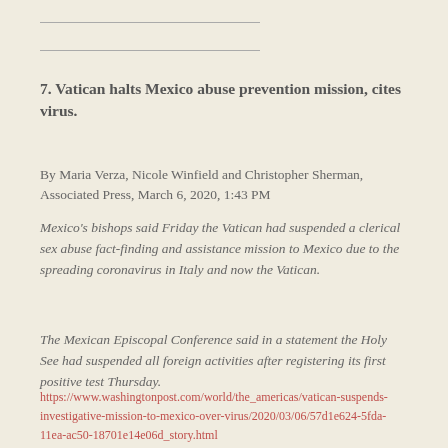7. Vatican halts Mexico abuse prevention mission, cites virus.
By Maria Verza, Nicole Winfield and Christopher Sherman, Associated Press, March 6, 2020, 1:43 PM
Mexico's bishops said Friday the Vatican had suspended a clerical sex abuse fact-finding and assistance mission to Mexico due to the spreading coronavirus in Italy and now the Vatican.
The Mexican Episcopal Conference said in a statement the Holy See had suspended all foreign activities after registering its first positive test Thursday.
https://www.washingtonpost.com/world/the_americas/vatican-suspends-investigative-mission-to-mexico-over-virus/2020/03/06/57d1e624-5fda-11ea-ac50-18701e14e06d_story.html